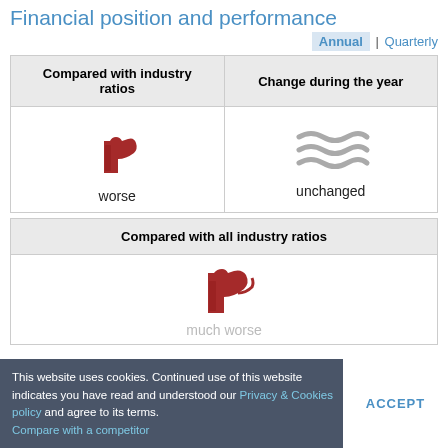Financial position and performance
Annual | Quarterly
| Compared with industry ratios | Change during the year |
| --- | --- |
| worse | unchanged |
| Compared with all industry ratios |
| --- |
| much worse |
This website uses cookies. Continued use of this website indicates you have read and understood our Privacy & Cookies policy and agree to its terms.
ACCEPT